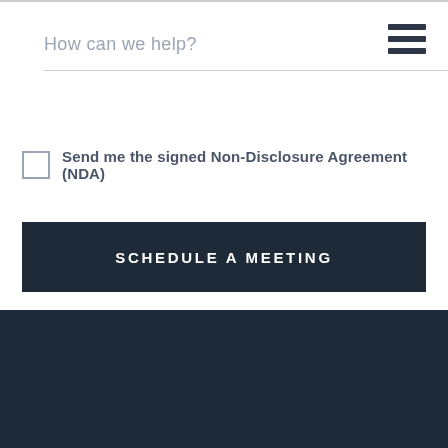How can we help?
Send me the signed Non-Disclosure Agreement (NDA)
SCHEDULE A MEETING
Free Product Development Newsletter
Join 22,000 other tech enthusiasts and get the best